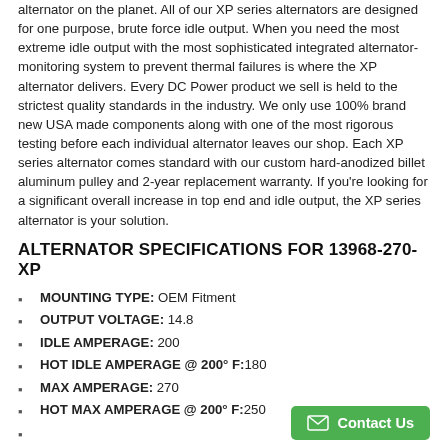alternator on the planet. All of our XP series alternators are designed for one purpose, brute force idle output. When you need the most extreme idle output with the most sophisticated integrated alternator-monitoring system to prevent thermal failures is where the XP alternator delivers. Every DC Power product we sell is held to the strictest quality standards in the industry. We only use 100% brand new USA made components along with one of the most rigorous testing before each individual alternator leaves our shop. Each XP series alternator comes standard with our custom hard-anodized billet aluminum pulley and 2-year replacement warranty. If you're looking for a significant overall increase in top end and idle output, the XP series alternator is your solution.
ALTERNATOR SPECIFICATIONS FOR 13968-270-XP
MOUNTING TYPE: OEM Fitment
OUTPUT VOLTAGE: 14.8
IDLE AMPERAGE: 200
HOT IDLE AMPERAGE @ 200° F:180
MAX AMPERAGE: 270
HOT MAX AMPERAGE @ 200° F:250
DOESN'T AFFECT VEHICLES PCM, CHECK ENGINE LIGHT OR CHARGE LIGHT:
Yes - Direct plug-in OEM PCM Compliant